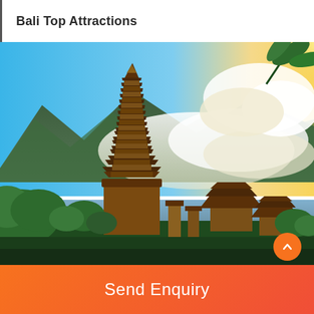Bali Top Attractions
[Figure (photo): Balinese Hindu temple (Pura Ulun Danu Bratan) with multi-tiered pagoda tower in the foreground, smaller pavilion structures, lush green trees, mountains with mist, and dramatic blue sky with clouds and golden sunlight on the right.]
Send Enquiry